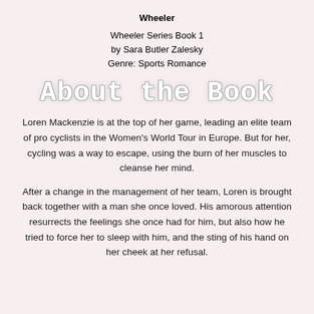Wheeler
Wheeler Series Book 1
by Sara Butler Zalesky
Genre: Sports Romance
About the Book
Loren Mackenzie is at the top of her game, leading an elite team of pro cyclists in the Women's World Tour in Europe. But for her, cycling was a way to escape, using the burn of her muscles to cleanse her mind.
After a change in the management of her team, Loren is brought back together with a man she once loved. His amorous attention resurrects the feelings she once had for him, but also how he tried to force her to sleep with him, and the sting of his hand on her cheek at her refusal.